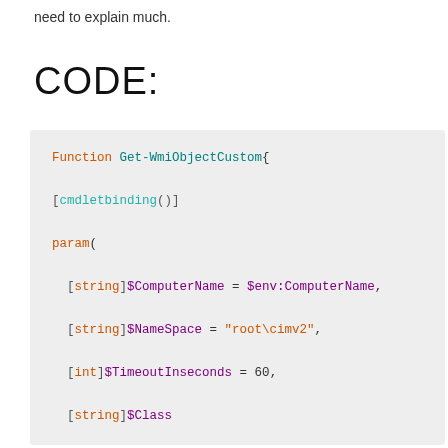need to explain much.
CODE:
[Figure (screenshot): PowerShell code block showing a Function Get-WmiObjectCustom with cmdletbinding, param block with [string]$ComputerName, [string]$NameSpace, [int]$TimeoutInseconds, [string]$Class parameters, followed by a try block with $ConnectionOptions and $EnumerationOptions new-object assignments.]